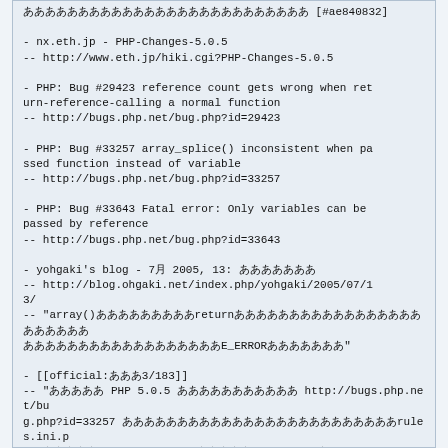ああああああああああああああああああああああああああ [#ae840832]

- nx.eth.jp - PHP-Changes-5.0.5
-- http://www.eth.jp/hiki.cgi?PHP-Changes-5.0.5

- PHP: Bug #29423 reference count gets wrong when return-reference-calling a normal function
-- http://bugs.php.net/bug.php?id=29423

- PHP: Bug #33257 array_splice() inconsistent when passed function instead of variable
-- http://bugs.php.net/bug.php?id=33257

- PHP: Bug #33643 Fatal error: Only variables can be passed by reference
-- http://bugs.php.net/bug.php?id=33643

- yohgaki's blog - 7月 2005, 13: あああああああ
-- http://blog.ohgaki.net/index.php/yohgaki/2005/07/13/
-- "array()あああああああああreturnあああああああああああああああああああああああああああああああああああああああああE_ERRORあああああああ"

- [[official:あああ3/183]]
-- "あああああ PHP 5.0.5 あああああああああああ http://bugs.php.net/bug.php?id=33257 あああああああああああああああああああああああrules.ini.php あああああrecent.inc.php あああああarray_pop あ array_splice あああああああああああああああああああああああああああああああああああああああarray あああああああああああああああああああああああああああああああああああああああああああああああああああああああああああああ"